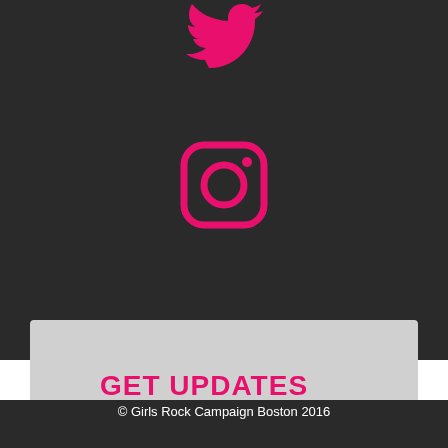[Figure (logo): Twitter bird icon in pink/magenta color, partially visible at top of dark background]
[Figure (logo): Instagram camera icon outline in pink/magenta color on dark background]
GET UPDATES
[Figure (screenshot): Email input field with placeholder text 'Your Email', and a hot-pink SUBSCRIBE button below it. To the right is a PayPal Donate button (yellow) with credit card logos below (Visa, Mastercard, Maestro, AmEx, Discover).]
© Girls Rock Campaign Boston 2016